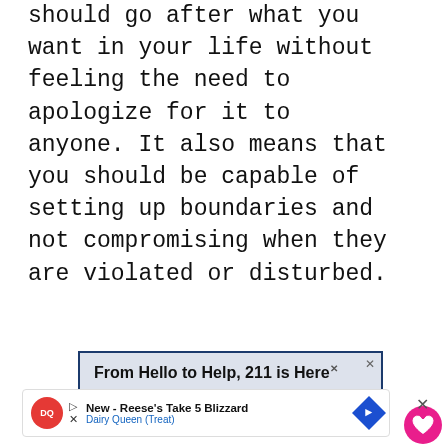should go after what you want in your life without feeling the need to apologize for it to anyone. It also means that you should be capable of setting up boundaries and not compromising when they are violated or disturbed.
[Figure (other): Advertisement banner: 'From Hello to Help, 211 is Here' with dark blue border and light blue-grey background, X close button top right]
[Figure (other): UI elements: pink heart/like button (circle), like count '21', share button (circle with share icon)]
[Figure (other): Bottom advertisement: Dairy Queen ad - 'New - Reese's Take 5 Blizzard' with DQ logo and blue arrow icon, X close button on right]